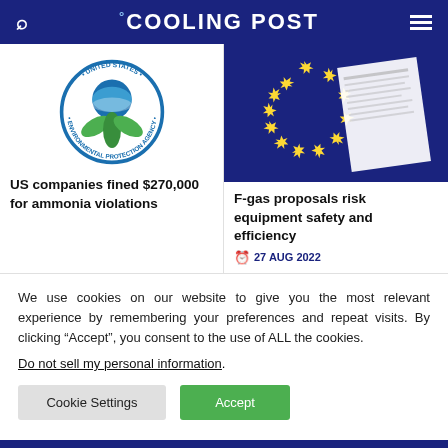COOLING POST
[Figure (logo): United States Environmental Protection Agency circular logo with blue globe and green plant leaves]
[Figure (photo): European Union flag with gold stars on blue background with a document/paper overlaid]
US companies fined $270,000 for ammonia violations
F-gas proposals risk equipment safety and efficiency
27 AUG 2022
We use cookies on our website to give you the most relevant experience by remembering your preferences and repeat visits. By clicking “Accept”, you consent to the use of ALL the cookies.
Do not sell my personal information.